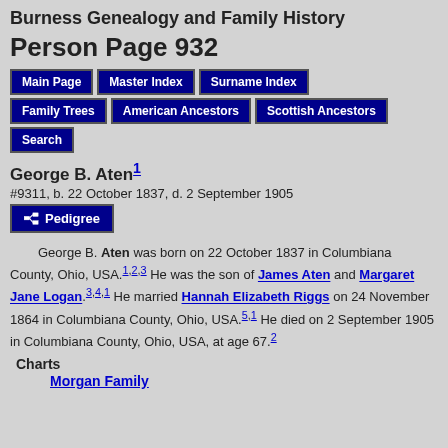Burness Genealogy and Family History
Person Page 932
Main Page | Master Index | Surname Index | Family Trees | American Ancestors | Scottish Ancestors | Search
George B. Aten
#9311, b. 22 October 1837, d. 2 September 1905
Pedigree
George B. Aten was born on 22 October 1837 in Columbiana County, Ohio, USA. He was the son of James Aten and Margaret Jane Logan. He married Hannah Elizabeth Riggs on 24 November 1864 in Columbiana County, Ohio, USA. He died on 2 September 1905 in Columbiana County, Ohio, USA, at age 67.
Charts
Morgan Family